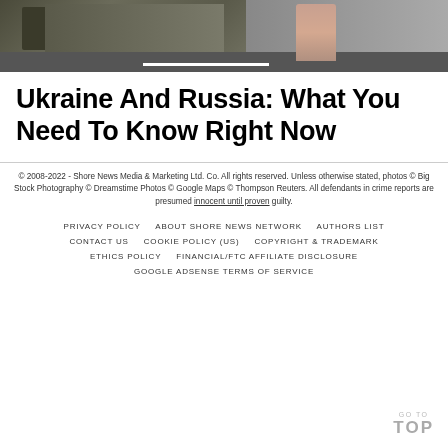[Figure (photo): Photo showing a military tank on the left and a person standing on a road with a white line marking on the right]
Ukraine And Russia: What You Need To Know Right Now
© 2008-2022 - Shore News Media & Marketing Ltd. Co. All rights reserved. Unless otherwise stated, photos © Big Stock Photography © Dreamstime Photos © Google Maps © Thompson Reuters. All defendants in crime reports are presumed innocent until proven guilty.
PRIVACY POLICY    ABOUT SHORE NEWS NETWORK    AUTHORS LIST    CONTACT US    COOKIE POLICY (US)    COPYRIGHT & TRADEMARK    ETHICS POLICY    FINANCIAL/FTC AFFILIATE DISCLOSURE    GOOGLE ADSENSE TERMS OF SERVICE